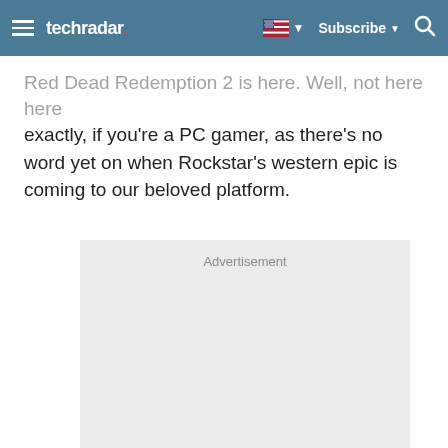techradar — Subscribe
Red Dead Redemption 2 is here. Well, not here here exactly, if you're a PC gamer, as there's no word yet on when Rockstar's western epic is coming to our beloved platform.
[Figure (other): Advertisement placeholder box]